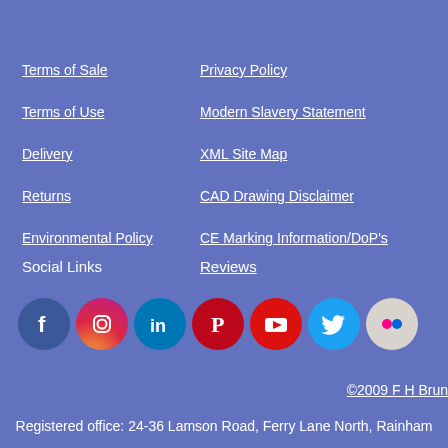Terms of Sale
Privacy Policy
Terms of Use
Modern Slavery Statement
Delivery
XML Site Map
Returns
CAD Drawing Disclaimer
Environmental Policy
CE Marking Information/DoP's
Social Links
Reviews
[Figure (infographic): Social media icons: Facebook, Instagram, LinkedIn, Pinterest, YouTube, Twitter, Flickr]
©2009 F H Brun
Registered office: 24-36 Lamson Road, Ferry Lane North, Rainham